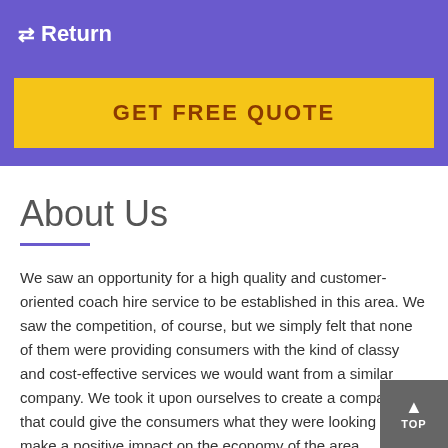⇄ Return
GET FREE QUOTE
About Us
We saw an opportunity for a high quality and customer-oriented coach hire service to be established in this area. We saw the competition, of course, but we simply felt that none of them were providing consumers with the kind of classy and cost-effective services we would want from a similar company. We took it upon ourselves to create a company that could give the consumers what they were looking for and make a positive impact on the economy of the area.
At the same time, we knew we could be a business that...